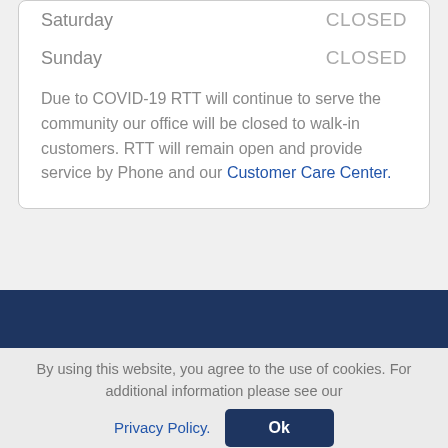| Day | Status |
| --- | --- |
| Saturday | CLOSED |
| Sunday | CLOSED |
Due to COVID-19 RTT will continue to serve the community our office will be closed to walk-in customers. RTT will remain open and provide service by Phone and our Customer Care Center.
By using this website, you agree to the use of cookies. For additional information please see our Privacy Policy.